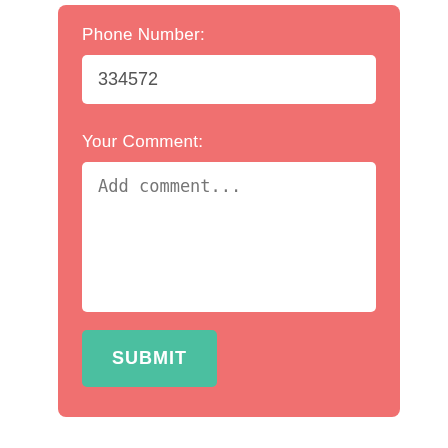Phone Number:
334572
Your Comment:
Add comment...
SUBMIT